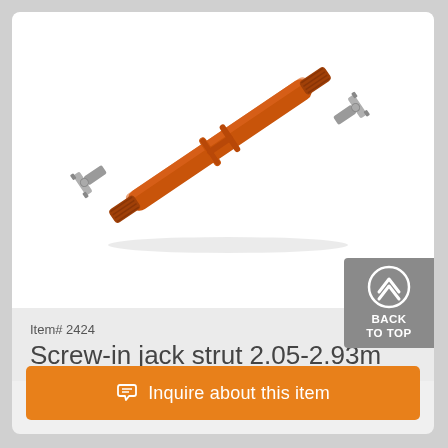[Figure (illustration): 3D rendered image of a screw-in jack strut (adjustable props) with orange/rust colored central tube and grey metal end fittings with ears/lugs, shown diagonally on a white background.]
Item# 2424
Screw-in jack strut 2.05-2.93m
BACK TO TOP
Inquire about this item